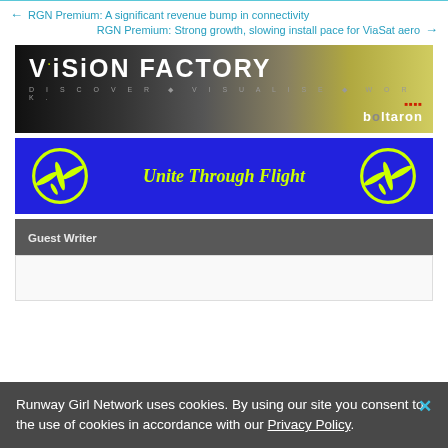← RGN Premium: A significant revenue bump in connectivity
RGN Premium: Strong growth, slowing install pace for ViaSat aero →
[Figure (advertisement): Vision Factory banner ad by Boltaron — dark background with VISION FACTORY heading and tagline DISCOVER · VISUALISE · WORK]
[Figure (advertisement): Unite Through Flight blue banner ad with yellow peace-plane logos on each side]
Guest Writer
Runway Girl Network uses cookies. By using our site you consent to the use of cookies in accordance with our Privacy Policy.